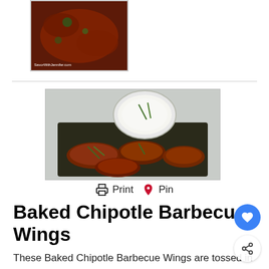[Figure (photo): Small thumbnail photo of baked chipotle barbecue wings with watermark 'SavorWithJennifer.com']
[Figure (photo): Main photo of baked chipotle barbecue wings on a dark tray with a small bowl of white dipping sauce garnished with green onions]
Print  Pin
Baked Chipotle Barbecue Wings
These Baked Chipotle Barbecue Wings are tossed in an easy Homemade Chipotle Brown Sugar BBQ Sauce and baked to perfection.